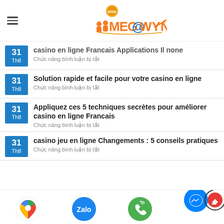MEGAWYN
casino en ligne Francais Applications Il none
Chức năng bình luận bị tắt
Solution rapide et facile pour votre casino en ligne
Chức năng bình luận bị tắt
Appliquez ces 5 techniques secrètes pour améliorer casino en ligne Francais
Chức năng bình luận bị tắt
casino jeu en ligne Changements : 5 conseils pratiques
Chức năng bình luận bị tắt
[Figure (infographic): Bottom navigation bar with icons: Google Maps, Zalo, phone call (green), Messenger, and a red edit button with a circular progress indicator]